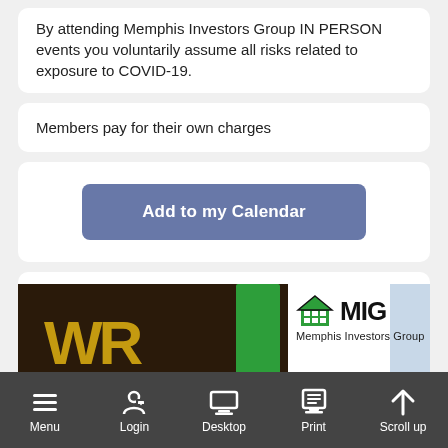By attending Memphis Investors Group IN PERSON events you voluntarily assume all risks related to exposure to COVID-19.
Members pay for their own charges
Add to my Calendar
[Figure (photo): Memphis Investors Group website screenshot showing WR logo on dark background with green stripe and MIG house logo]
Menu  Login  Desktop  Print  Scroll up